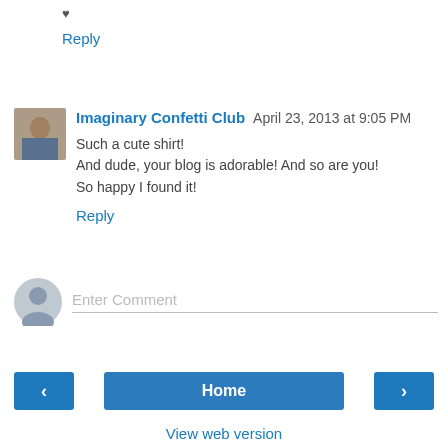♥
Reply
Imaginary Confetti Club  April 23, 2013 at 9:05 PM
Such a cute shirt!
And dude, your blog is adorable! And so are you!
So happy I found it!
Reply
Enter Comment
Home
View web version